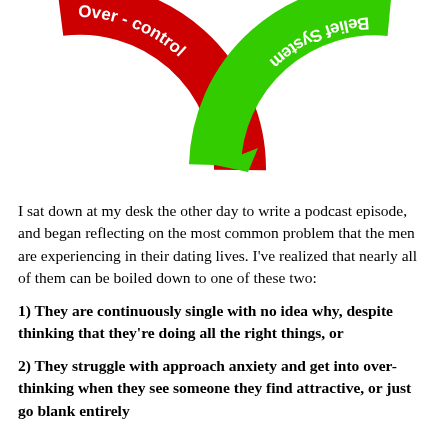[Figure (infographic): Two curved arrows forming a cycle: a red curved arrow on the left labeled 'Over-control' and a green curved arrow on the right labeled 'Belief System', pointing toward each other.]
I sat down at my desk the other day to write a podcast episode, and began reflecting on the most common problem that the men are experiencing in their dating lives. I've realized that nearly all of them can be boiled down to one of these two:
1) They are continuously single with no idea why, despite thinking that they're doing all the right things, or
2) They struggle with approach anxiety and get into over-thinking when they see someone they find attractive, or just go blank entirely